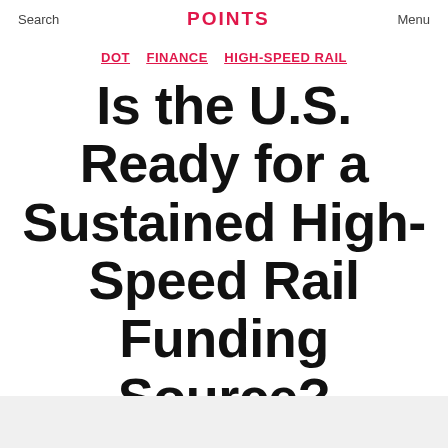Search   [LOGO]   Menu
DOT  FINANCE  HIGH-SPEED RAIL
Is the U.S. Ready for a Sustained High-Speed Rail Funding Source?
By Yonah Freemark   19 April 2010   45 Comments